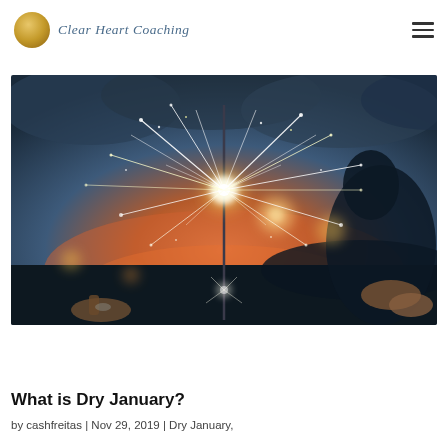Clear Heart Coaching
[Figure (photo): A sparkler being held against a twilight sky with orange and blue tones, sparks flying outward, blurred city lights in background, a silhouette of a person visible on the right side.]
What is Dry January?
by cashfreitas | Nov 29, 2019 | Dry January,